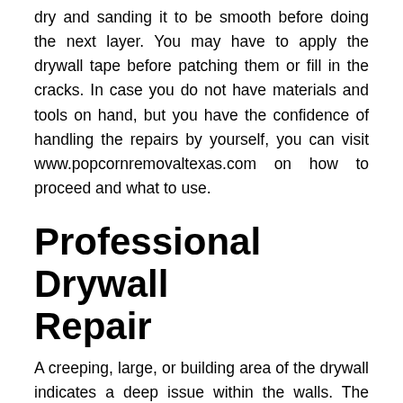dry and sanding it to be smooth before doing the next layer. You may have to apply the drywall tape before patching them or fill in the cracks. In case you do not have materials and tools on hand, but you have the confidence of handling the repairs by yourself, you can visit www.popcornremovaltexas.com on how to proceed and what to use.
Professional Drywall Repair
A creeping, large, or building area of the drywall indicates a deep issue within the walls. The drywall has shifted as a result of poor or moisture installation. Perhaps the wall was not screwed securely during the first installation. There could be several reasons for a major issue of the drywall, and patching it will not just postpone the required repairs, and make them extremely extensive when it is time. In case you have a crack that